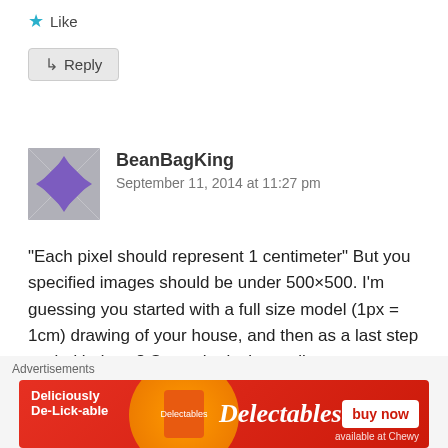★ Like
↳ Reply
[Figure (illustration): Avatar icon for BeanBagKing — purple geometric/pixel art avatar]
BeanBagKing
September 11, 2014 at 11:27 pm
“Each pixel should represent 1 centimeter” But you specified images should be under 500×500. I’m guessing you started with a full size model (1px = 1cm) drawing of your house, and then as a last step scaled it down? So each pixel actually represents a much larger distance?
[Figure (illustration): Close/dismiss button (circle with X) in bottom right]
Advertisements
[Figure (illustration): Delectables cat food advertisement banner: 'Deliciously De-Lick-able' with Delectables branding and 'buy now' button from Chewy]